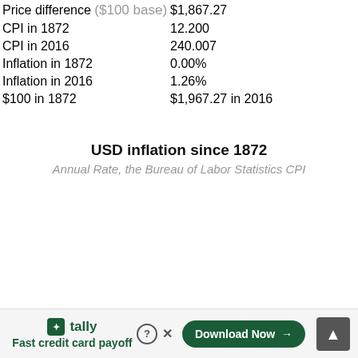| Price difference ($100 base) | $1,867.27 |
| CPI in 1872 | 12.200 |
| CPI in 2016 | 240.007 |
| Inflation in 1872 | 0.00% |
| Inflation in 2016 | 1.26% |
| $100 in 1872 | $1,967.27 in 2016 |
USD inflation since 1872
Annual Rate, the Bureau of Labor Statistics CPI